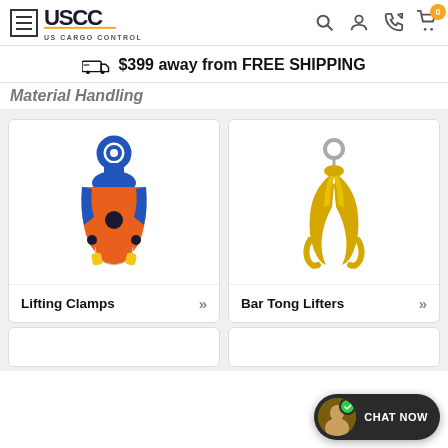[Figure (logo): US Cargo Control (USCC) logo with hamburger menu icon and navigation icons (search, user, phone, cart with 0 badge)]
$399 away from FREE SHIPPING
Material Handling
[Figure (photo): Lifting Clamp product image - blue and orange metal lifting clamp with ring eye on white background]
Lifting Clamps
[Figure (photo): Bar Tong Lifters product image - yellow metal bar tong lifter with hook on white background]
Bar Tong Lifters
[Figure (other): CHAT NOW widget with avatar photo, green checkmark badge, and chat now text]